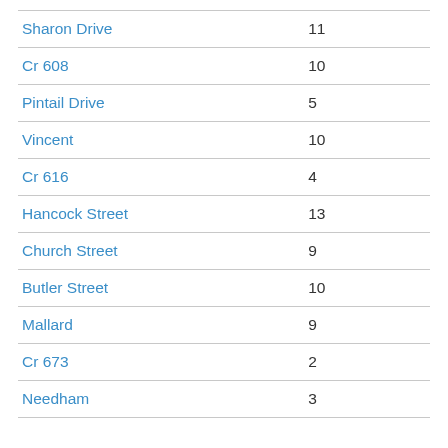|  |  |
| --- | --- |
| Sharon Drive | 11 |
| Cr 608 | 10 |
| Pintail Drive | 5 |
| Vincent | 10 |
| Cr 616 | 4 |
| Hancock Street | 13 |
| Church Street | 9 |
| Butler Street | 10 |
| Mallard | 9 |
| Cr 673 | 2 |
| Needham | 3 |